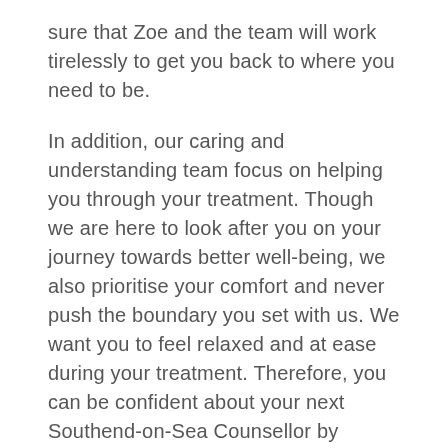sure that Zoe and the team will work tirelessly to get you back to where you need to be.
In addition, our caring and understanding team focus on helping you through your treatment. Though we are here to look after you on your journey towards better well-being, we also prioritise your comfort and never push the boundary you set with us. We want you to feel relaxed and at ease during your treatment. Therefore, you can be confident about your next Southend-on-Sea Counsellor by choosing Bournemouth Counselling & Hypnotherapy.
How does one of our Southend-on-